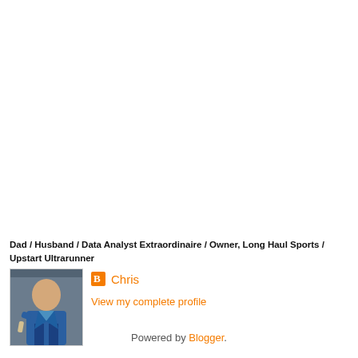Dad / Husband / Data Analyst Extraordinaire / Owner, Long Haul Sports / Upstart Ultrarunner
[Figure (photo): Profile photo of a man outdoors near a vehicle, wearing a blue jacket]
Chris
View my complete profile
Powered by Blogger.